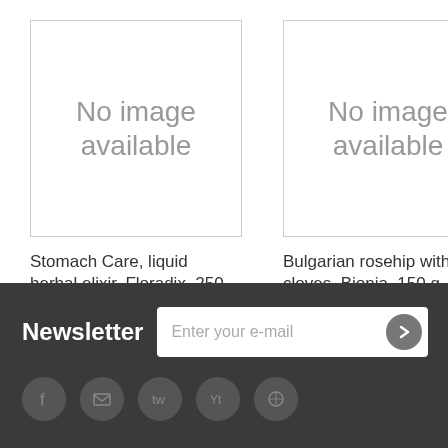[Figure (other): Product image placeholder — No image available]
Stomach Care, liquid herbal elixir, Floradix, 250 ml
15,64 €
[Figure (other): Product image placeholder — No image available]
Bulgarian rosehip with cloves, Bionia, 150 g
2,05 €
[Figure (other): Partial product image placeholder (cropped)]
Sol... bar... Gal...
1,28...
Newsletter  Enter your e-mail  [social icons: Facebook, email, Twitter, YouTube, other]